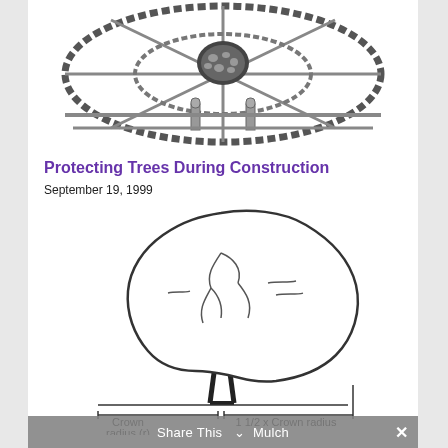[Figure (illustration): Top portion of a structural diagram showing a circular tree protection barrier/fence viewed from above, with radial supports, cross-bracing, and a dark center representing the tree trunk area. Black and white line drawing.]
Protecting Trees During Construction
September 19, 1999
[Figure (illustration): A tree diagram shown in side profile with a large rounded crown canopy and a forked trunk. Below the tree are horizontal dimension lines labeled: 'Crown radius (r)' on the left side and '1 1/2 x Crown radius' on the right side. The text 'Mulch' appears at the bottom partially obscured by the Share This bar.]
Share This  Mulch  ×